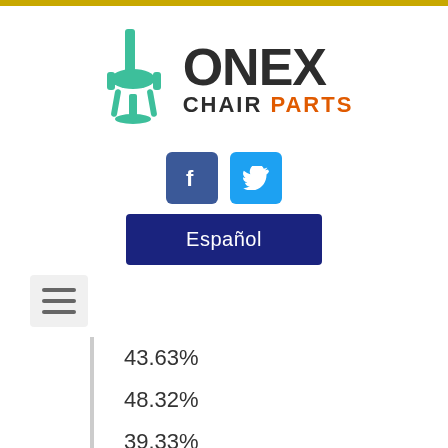[Figure (logo): Onex Chair Parts logo with green chair icon and text 'ONEX CHAIR PARTS' where CHAIR is dark gray and PARTS is orange]
[Figure (infographic): Social media buttons: Facebook (blue square with f icon) and Twitter (light blue square with bird icon)]
Español
[Figure (infographic): Hamburger menu button (three horizontal lines on light gray background)]
43.63%
48.32%
39.33%
41.12%
34.91%